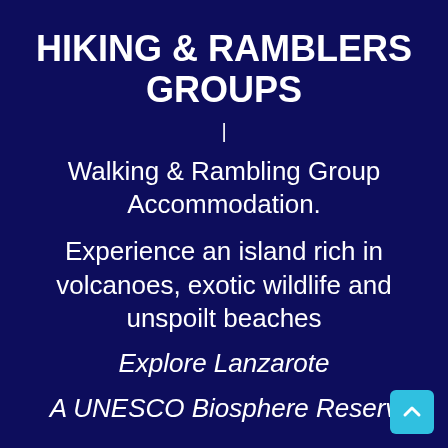HIKING & RAMBLERS GROUPS
|
Walking & Rambling Group Accommodation.
Experience an island rich in volcanoes, exotic wildlife and unspoilt beaches
Explore Lanzarote
A UNESCO Biosphere Reserve